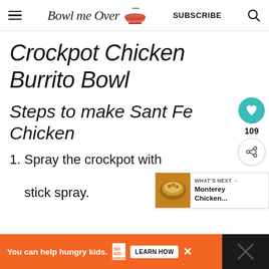Bowl me Over — SUBSCRIBE
Crockpot Chicken Burrito Bowl
Steps to make Sant Fe Chicken
1. Spray the crockpot with stick spray.
[Figure (other): What's Next panel showing Monterey Chicken...]
You can help hungry kids. NO KID HUNGRY LEARN HOW